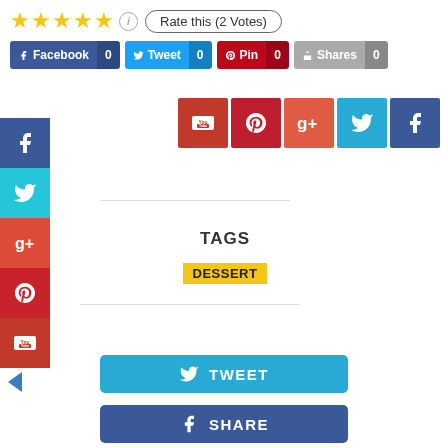[Figure (other): Five yellow stars rating with info icon and Rate this (2 Votes) button]
[Figure (other): Social share bar with Facebook 0, Tweet 0, Pin 0, Shares 0 buttons]
[Figure (other): Vertical side social media icons: Facebook, Twitter, Google+, Pinterest, YouTube]
[Figure (other): Top right social media icons: YouTube, Pinterest, Google+, Twitter, Facebook]
TAGS
DESSERT
[Figure (other): Tweet button (blue)]
[Figure (other): Share button (Facebook blue), partially visible]